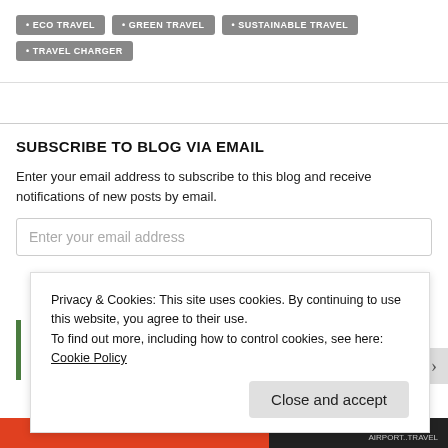• ECO TRAVEL
• GREEN TRAVEL
• SUSTAINABLE TRAVEL
• TRAVEL CHARGER
SUBSCRIBE TO BLOG VIA EMAIL
Enter your email address to subscribe to this blog and receive notifications of new posts by email.
Privacy & Cookies: This site uses cookies. By continuing to use this website, you agree to their use. To find out more, including how to control cookies, see here: Cookie Policy
Close and accept